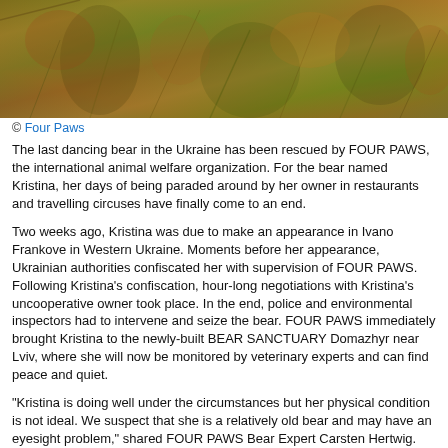[Figure (photo): Outdoor nature photograph showing dense vegetation, autumn-colored shrubs and grasses in shades of orange, red, green and brown.]
© Four Paws
The last dancing bear in the Ukraine has been rescued by FOUR PAWS, the international animal welfare organization. For the bear named Kristina, her days of being paraded around by her owner in restaurants and travelling circuses have finally come to an end.
Two weeks ago, Kristina was due to make an appearance in Ivano Frankove in Western Ukraine. Moments before her appearance, Ukrainian authorities confiscated her with supervision of FOUR PAWS. Following Kristina's confiscation, hour-long negotiations with Kristina's uncooperative owner took place. In the end, police and environmental inspectors had to intervene and seize the bear. FOUR PAWS immediately brought Kristina to the newly-built BEAR SANCTUARY Domazhyr near Lviv, where she will now be monitored by veterinary experts and can find peace and quiet.
“Kristina is doing well under the circumstances but her physical condition is not ideal. We suspect that she is a relatively old bear and may have an eyesight problem,” shared FOUR PAWS Bear Expert Carsten Hertwig. “At first, we brought Kristina into an indoor enclosure so she could get used to her new surroundings and our bear keepers. After careful observation, we decided to release her to her outdoor enclosure on her second day with us.”
Kristina spent most of her life trapped inside a tiny cage in her owner’s van, where the temperature reached 90 degrees Fahrenheit. Her owner forced her to